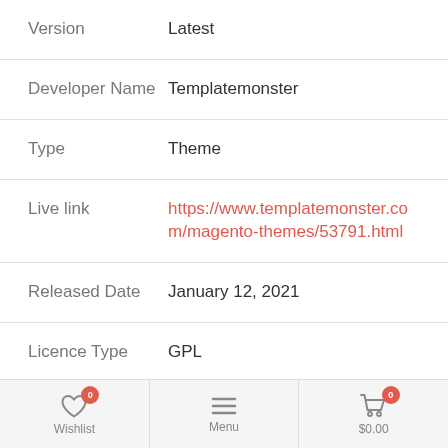| Field | Value |
| --- | --- |
| Version | Latest |
| Developer Name | Templatemonster |
| Type | Theme |
| Live link | https://www.templatemonster.com/magento-themes/53791.html |
| Released Date | January 12, 2021 |
| Licence Type | GPL |
Wishlist 0 | Menu | $0.00 0